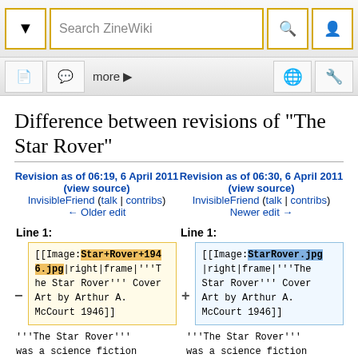[Figure (screenshot): ZineWiki browser toolbar with search box, navigation buttons, and icons]
Difference between revisions of "The Star Rover"
Revision as of 06:19, 6 April 2011 (view source)
InvisibleFriend (talk | contribs)
← Older edit
Revision as of 06:30, 6 April 2011 (view source)
InvisibleFriend (talk | contribs)
Newer edit →
Line 1:
Line 1:
[[Image:Star+Rover+1946.jpg|right|frame|'''The Star Rover''' Cover Art by Arthur A. McCourt 1946]]
[[Image:StarRover.jpg|right|frame|'''The Star Rover''' Cover Art by Arthur A. McCourt 1946]]
'''The Star Rover''' was a science fiction
'''The Star Rover''' was a science fiction